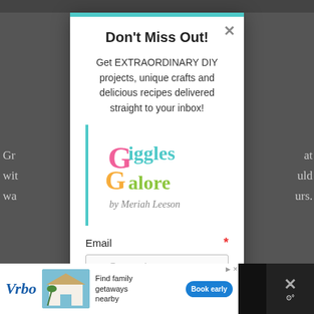[Figure (screenshot): Background of a webpage with blurred/darkened content visible around a modal dialog]
Don't Miss Out!
Get EXTRAORDINARY DIY projects, unique crafts and delicious recipes delivered straight to your inbox!
[Figure (logo): Giggles Galore by Meriah Leeson logo with colorful letters and script text]
Email *
you@example.com
[Figure (screenshot): Vrbo advertisement banner at the bottom: Find family getaways nearby, with Book early button]